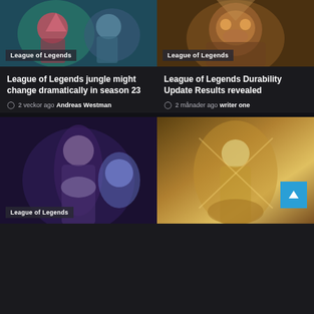[Figure (illustration): League of Legends game art top left card image with characters]
[Figure (illustration): League of Legends game art top right card image with Gragas character]
League of Legends jungle might change dramatically in season 23
2 veckor ago  Andreas Westman
League of Legends Durability Update Results revealed
2 månader ago  writer one
[Figure (illustration): League of Legends game art bottom left card image with female character]
[Figure (illustration): League of Legends game art bottom right card image with female character in golden light]